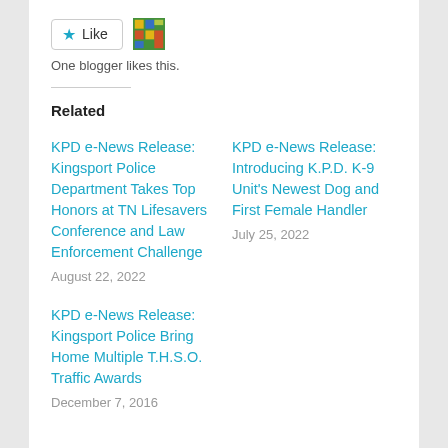[Figure (other): Like button with star icon and a small blogger avatar image]
One blogger likes this.
Related
KPD e-News Release: Kingsport Police Department Takes Top Honors at TN Lifesavers Conference and Law Enforcement Challenge
August 22, 2022
KPD e-News Release: Introducing K.P.D. K-9 Unit's Newest Dog and First Female Handler
July 25, 2022
KPD e-News Release: Kingsport Police Bring Home Multiple T.H.S.O. Traffic Awards
December 7, 2016